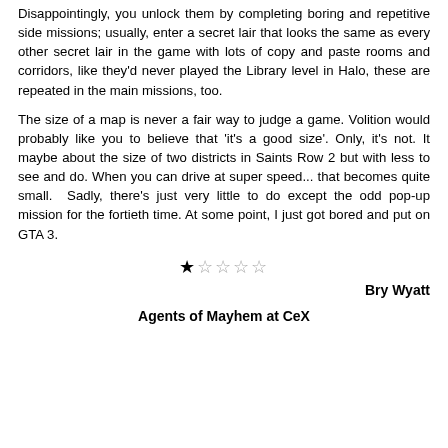Disappointingly, you unlock them by completing boring and repetitive side missions; usually, enter a secret lair that looks the same as every other secret lair in the game with lots of copy and paste rooms and corridors, like they'd never played the Library level in Halo, these are repeated in the main missions, too.
The size of a map is never a fair way to judge a game. Volition would probably like you to believe that 'it's a good size'. Only, it's not. It maybe about the size of two districts in Saints Row 2 but with less to see and do. When you can drive at super speed... that becomes quite small.  Sadly, there's just very little to do except the odd pop-up mission for the fortieth time. At some point, I just got bored and put on GTA 3.
[Figure (other): Star rating: 1 out of 5 stars (one filled star, four empty stars)]
Bry Wyatt
Agents of Mayhem at CeX